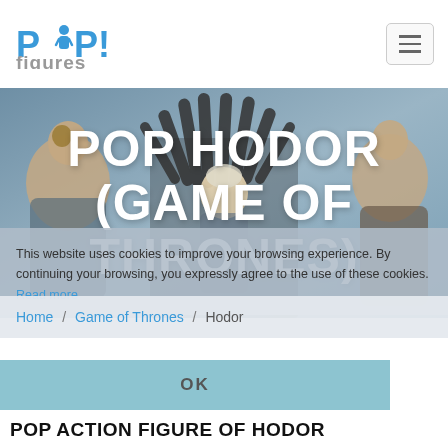[Figure (logo): POP! figures logo in blue with person icon and grey 'figures' text below]
[Figure (photo): Hero banner showing Game of Thrones Funko Pop figures including characters on Iron Throne and other characters on dark grey background]
POP HODOR (GAME OF THRONES)
This website uses cookies to improve your browsing experience. By continuing your browsing, you expressly agree to the use of these cookies. Read more
Home / Game of Thrones / Hodor
OK
POP ACTION FIGURE OF HODOR